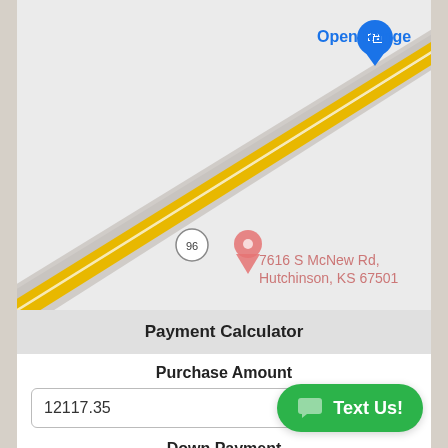[Figure (map): Google Maps screenshot showing a road (route 96) with yellow center lines, a red location pin for '7616 S McNew Rd, Hutchinson, KS 67501', and an 'Open Range' store marker in the upper right.]
Payment Calculator
Purchase Amount
12117.35
Down Payment
0
Text Us!